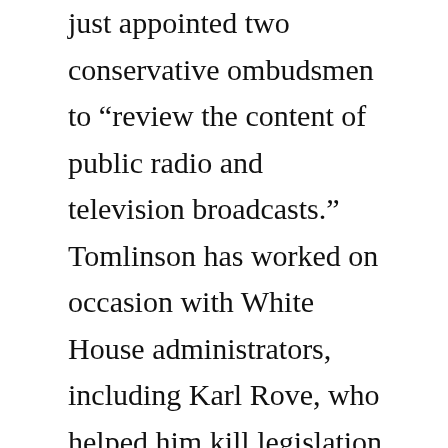just appointed two conservative ombudsmen to “review the content of public radio and television broadcasts.” Tomlinson has worked on occasion with White House administrators, including Karl Rove, who helped him kill legislation that would have made the CPB require more board members who actually have media backgrounds.
In addition to Tomlinson minding the public airwaves, we also have Ken Ferree, the new chief executive of the CPB. Ferree, a Republican who played a